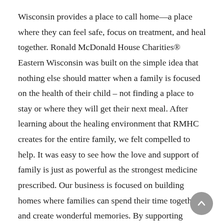Wisconsin provides a place to call home—a place where they can feel safe, focus on treatment, and heal together. Ronald McDonald House Charities® Eastern Wisconsin was built on the simple idea that nothing else should matter when a family is focused on the health of their child – not finding a place to stay or where they will get their next meal. After learning about the healing environment that RMHC creates for the entire family, we felt compelled to help. It was easy to see how the love and support of family is just as powerful as the strongest medicine prescribed. Our business is focused on building homes where families can spend their time together and create wonderful memories. By supporting Ronald McDonald House Charities® Eastern Wisconsin and